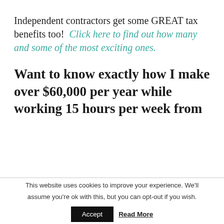Independent contractors get some GREAT tax benefits too!  Click here to find out how many and some of the most exciting ones.
Want to know exactly how I make over $60,000 per year while working 15 hours per week from
This website uses cookies to improve your experience. We'll assume you're ok with this, but you can opt-out if you wish.
Accept   Read More